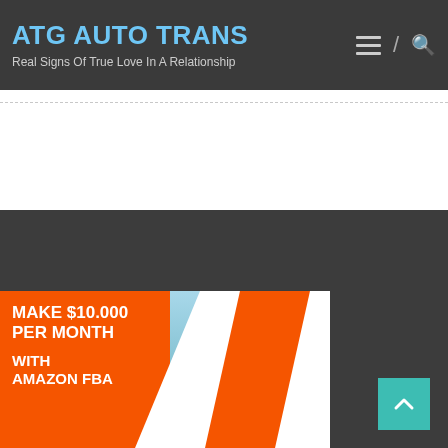ATG AUTO TRANS
Real Signs Of True Love In A Relationship
[Figure (infographic): Orange advertisement banner: MAKE $10.000 PER MONTH WITH AMAZON FBA, with a photo of a person with arms outstretched on a mountaintop, and a white chevron/triangle graphic overlay.]